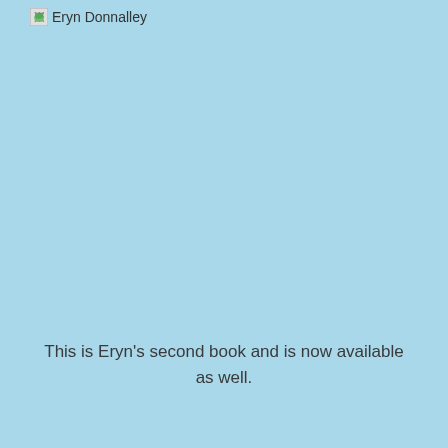[Figure (logo): Small image icon followed by text 'Eryn Donnalley' as a logo/profile label in the top left corner]
This is Eryn's second book and is now available as well.